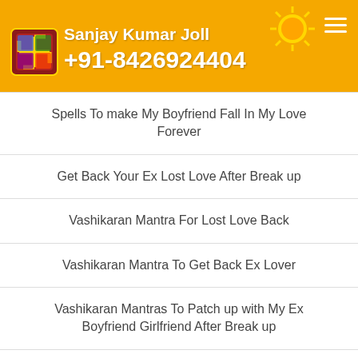Sanjay Kumar Joll +91-8426924404
Spells To make My Boyfriend Fall In My Love Forever
Get Back Your Ex Lost Love After Break up
Vashikaran Mantra For Lost Love Back
Vashikaran Mantra To Get Back Ex Lover
Vashikaran Mantras To Patch up with My Ex Boyfriend Girlfriend After Break up
Vashikaran Mantras's Help For Bring Back My Ex